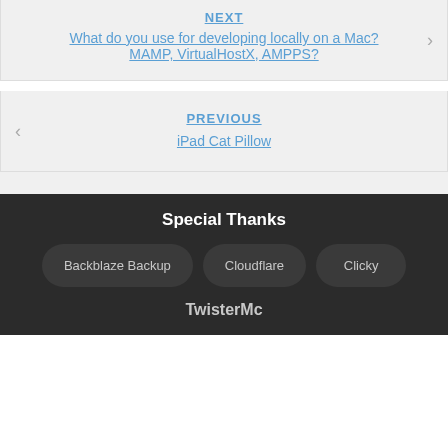NEXT
What do you use for developing locally on a Mac? MAMP, VirtualHostX, AMPPS?
PREVIOUS
iPad Cat Pillow
Special Thanks
Backblaze Backup
Cloudflare
Clicky
TwisterMc